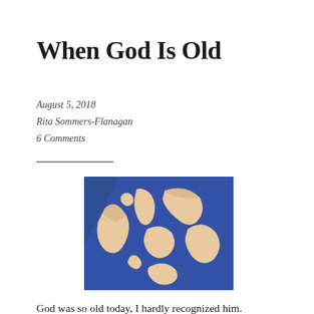When God Is Old
August 5, 2018
Rita Sommers-Flanagan
6 Comments
[Figure (photo): Abstract art photo showing curved beige/tan fragments arranged on a deep blue background, resembling broken ceramic or paper pieces in a swirling pattern.]
God was so old today, I hardly recognized him.